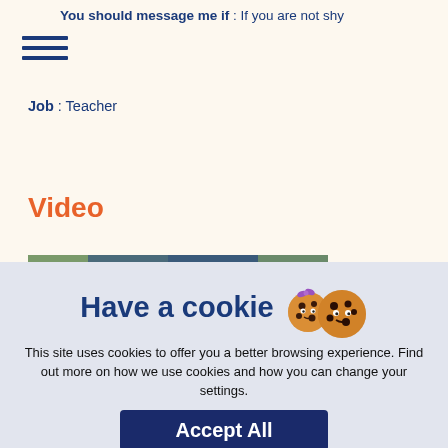You should message me if : If you are not shy
[Figure (other): Hamburger menu icon (three horizontal lines)]
Job : Teacher
Video
[Figure (photo): Partial photo strip showing outdoor/nature scene]
Have a cookie
This site uses cookies to offer you a better browsing experience. Find out more on how we use cookies and how you can change your settings.
Accept All
Cookie settings page